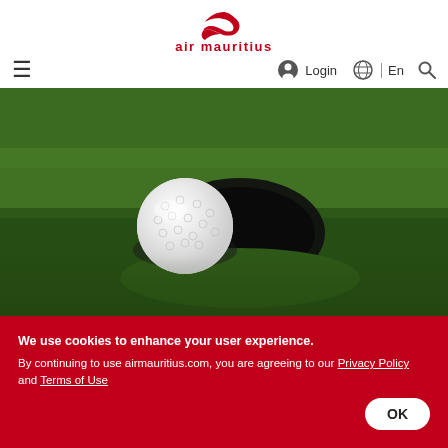[Figure (logo): Air Mauritius logo — red bird/swoosh above red 'air mauritius' wordmark]
≡  Login  🌐 | En  🔍
[Figure (photo): Close-up photo of a white golf ball on green grass next to a golf hole (dark circular cup), viewed from ground level with sunlight.]
We use cookies to enhance your user experience. By continuing to use airmauritius.com, you are agreeing to our Privacy Policy and Terms of Use
OK